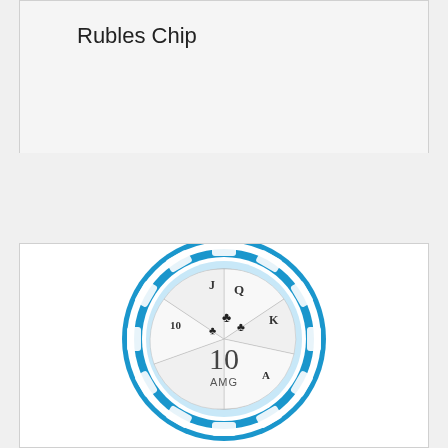Rubles Chip
[Figure (photo): A blue casino chip with the number 10 and AMG label in the center, featuring card suit symbols (clubs) and playing card values (J, Q, K, 10) arranged in a fan pattern around the inner circle.]
Casino AMG (Alfa Management Group) 10 Rubles chip